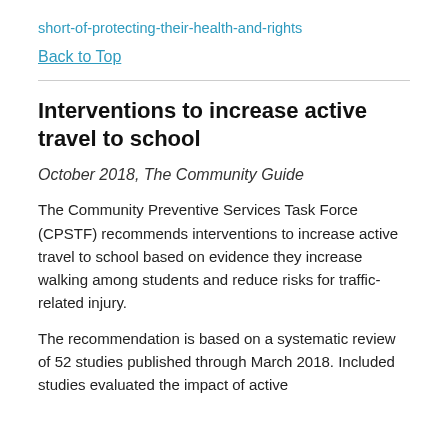short-of-protecting-their-health-and-rights
Back to Top
Interventions to increase active travel to school
October 2018, The Community Guide
The Community Preventive Services Task Force (CPSTF) recommends interventions to increase active travel to school based on evidence they increase walking among students and reduce risks for traffic-related injury.
The recommendation is based on a systematic review of 52 studies published through March 2018. Included studies evaluated the impact of active